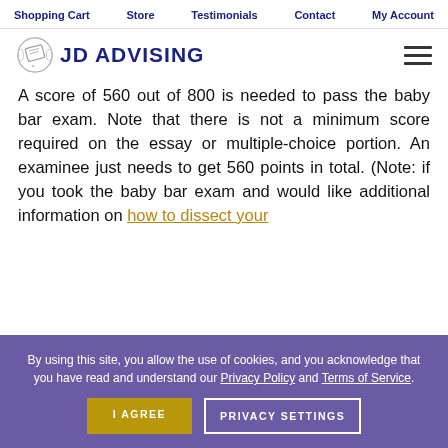Shopping Cart   Store   Testimonials   Contact   My Account
[Figure (logo): JD Advising logo with diploma/scroll icon and text 'JD ADVISING']
A score of 560 out of 800 is needed to pass the baby bar exam. Note that there is not a minimum score required on the essay or multiple-choice portion. An examinee just needs to get 560 points in total. (Note: if you took the baby bar exam and would like additional information on how to dissect your
By using this site, you allow the use of cookies, and you acknowledge that you have read and understand our Privacy Policy and Terms of Service.
I AGREE   PRIVACY SETTINGS